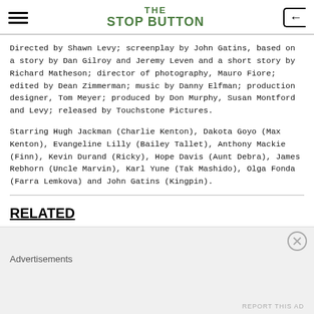THE STOP BUTTON
Directed by Shawn Levy; screenplay by John Gatins, based on a story by Dan Gilroy and Jeremy Leven and a short story by Richard Matheson; director of photography, Mauro Fiore; edited by Dean Zimmerman; music by Danny Elfman; production designer, Tom Meyer; produced by Don Murphy, Susan Montford and Levy; released by Touchstone Pictures.
Starring Hugh Jackman (Charlie Kenton), Dakota Goyo (Max Kenton), Evangeline Lilly (Bailey Tallet), Anthony Mackie (Finn), Kevin Durand (Ricky), Hope Davis (Aunt Debra), James Rebhorn (Uncle Marvin), Karl Yune (Tak Mashido), Olga Fonda (Farra Lemkova) and John Gatins (Kingpin).
RELATED
Advertisements